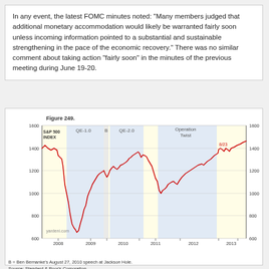In any event, the latest FOMC minutes noted: "Many members judged that additional monetary accommodation would likely be warranted fairly soon unless incoming information pointed to a substantial and sustainable strengthening in the pace of the economic recovery." There was no similar comment about taking action "fairly soon" in the minutes of the previous meeting during June 19-20.
[Figure (continuous-plot): S&P 500 INDEX line chart from 2008 to 2013 showing QE-1.0, B (Bernanke Jackson Hole speech), QE-2.0, Operation Twist periods highlighted with shaded backgrounds. The index drops from ~1400 in 2008 to ~666 in early 2009, recovers to ~1300 by 2010, dips and rises through QE-2.0 and Operation Twist periods, reaching ~1600 by 2013. Annotated with '8/23' near end. Source: yardeni.com, Standard & Poor's Corporation.]
B = Ben Bernanke's August 27, 2010 speech at Jackson Hole.
Source: Standard & Poor's Corporation.